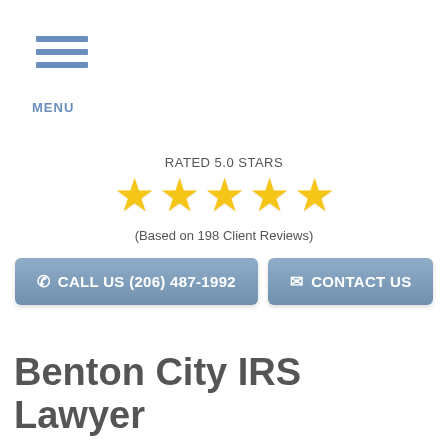[Figure (infographic): Hamburger menu icon with three horizontal blue lines and MENU label below]
RATED 5.0 STARS
[Figure (infographic): Five gold star rating icons]
(Based on 198 Client Reviews)
[Figure (infographic): Two buttons: CALL US (206) 487-1992 and CONTACT US, styled in steel blue]
Benton City IRS Lawyer